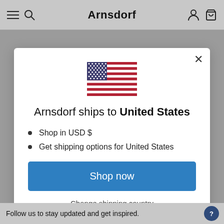Arnsdorf
[Figure (illustration): US flag emoji/illustration centered in modal]
Arnsdorf ships to United States
Shop in USD $
Get shipping options for United States
Shop now
Change shipping country
Follow us to stay updated and get inspired.